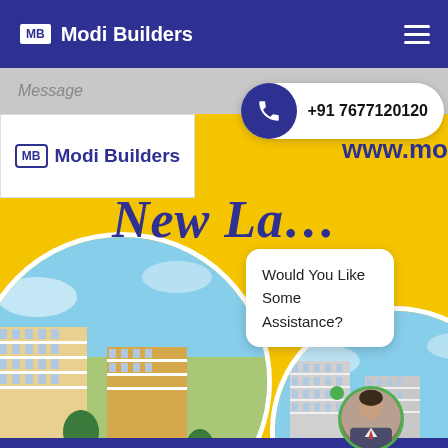MB Modi Builders
Message
+91 7677120120
[Figure (logo): MB Modi Builders logo with white background]
www.mo
New La...
[Figure (photo): Circular cropped photo of multi-storey residential apartment building with yellow and white facade]
Would You Like Some Assistance?
[Figure (photo): Circular cropped photo of tall grey/white residential apartment building]
[Figure (illustration): Chatbot avatar - person with dark hair in business attire with green online indicator dot]